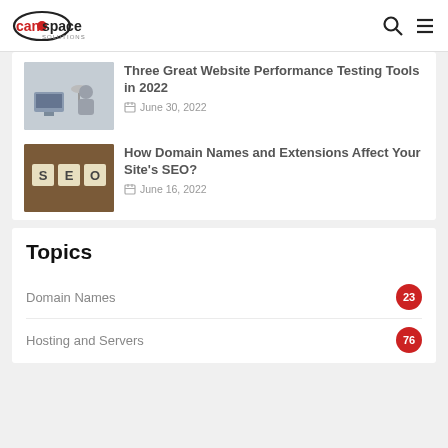CanSpace Solutions
[Figure (photo): Person working at a computer desk]
Three Great Website Performance Testing Tools in 2022
June 30, 2022
[Figure (photo): SEO letter tiles on wooden surface]
How Domain Names and Extensions Affect Your Site's SEO?
June 16, 2022
Topics
Domain Names 23
Hosting and Servers 76